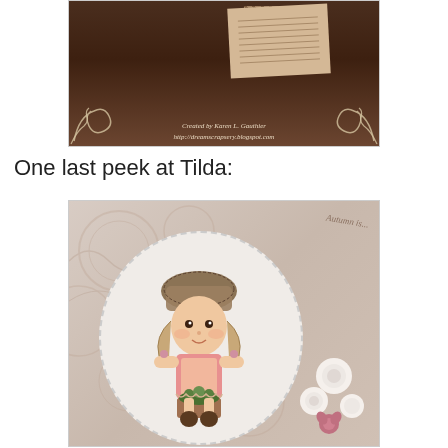[Figure (photo): Close-up photo of a handmade scrapbook or greeting card showing dark brown background with decorative lace/filigree corners, a distressed tag with handwritten text, and creator credit reading 'Created by Karen L. Gauthier' and website URL]
One last peek at Tilda:
[Figure (photo): Photo of a handmade card featuring a Tilda doll stamped image (a cute girl in a dress holding a flower pot) mounted on an oval white mat, surrounded by decorative lace die-cuts on a dusty rose/beige patterned background, with white and pink paper flowers in the lower right corner]